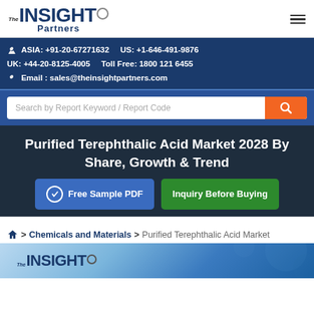The Insight Partners
ASIA: +91-20-67271632  US: +1-646-491-9876  UK: +44-20-8125-4005  Toll Free: 1800 121 6455  Email: sales@theinsightpartners.com
Purified Terephthalic Acid Market 2028 By Share, Growth & Trend
Free Sample PDF  Inquiry Before Buying
Home > Chemicals and Materials > Purified Terephthalic Acid Market